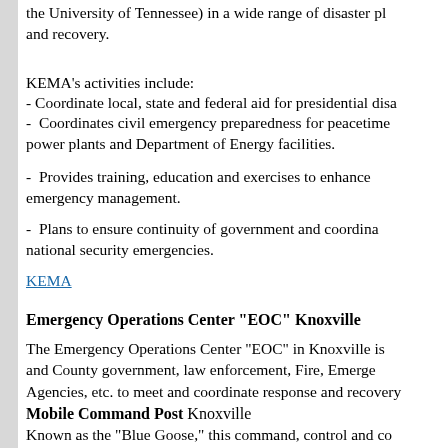the University of Tennessee) in a wide range of disaster planning and recovery.
KEMA's activities include:
- Coordinate local, state and federal aid for presidential disaster declarations.
- Coordinates civil emergency preparedness for peacetime emergencies involving nuclear power plants and Department of Energy facilities.
- Provides training, education and exercises to enhance emergency management.
- Plans to ensure continuity of government and coordination of national security emergencies.
KEMA
Emergency Operations Center "EOC" Knoxville
The Emergency Operations Center "EOC" in Knoxville is a facility for City and County government, law enforcement, Fire, Emergency Medical, and other Agencies, etc. to meet and coordinate response and recovery during emergencies.
Mobile Command Post Knoxville
Known as the "Blue Goose," this command, control and communications vehicle was funded by FEMA, TEMA, KEMA and private donations. The Blue Goose is used to manage disaster incidents and special events. Depending upon the situation,